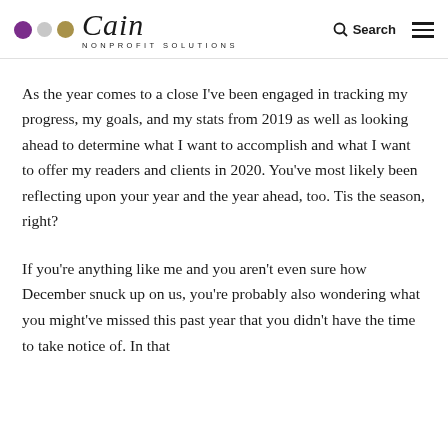Cain Nonprofit Solutions — Search / Menu
As the year comes to a close I've been engaged in tracking my progress, my goals, and my stats from 2019 as well as looking ahead to determine what I want to accomplish and what I want to offer my readers and clients in 2020. You've most likely been reflecting upon your year and the year ahead, too. Tis the season, right?
If you're anything like me and you aren't even sure how December snuck up on us, you're probably also wondering what you might've missed this past year that you didn't have the time to take notice of. In that